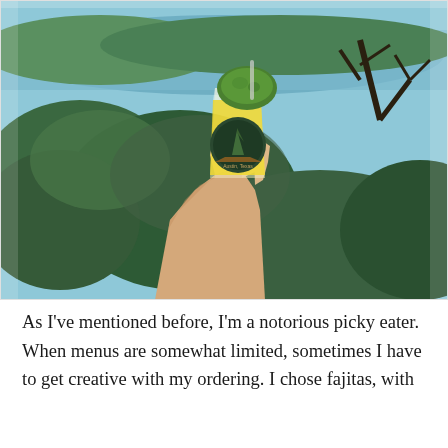[Figure (photo): A hand holding up a clear plastic cup with yellow liquid (juice/drink) topped with a lime or avocado, with an Austin Texas branded sticker/logo on the cup. The background shows green trees and a lake or river with blue sky, taken from an elevated viewpoint.]
As I've mentioned before, I'm a notorious picky eater. When menus are somewhat limited, sometimes I have to get creative with my ordering. I chose fajitas, with